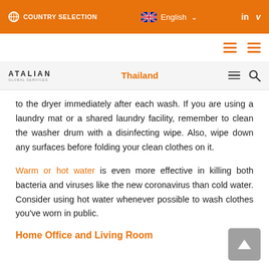COUNTRY SELECTION | English | LinkedIn | Vimeo
[Figure (logo): ATALIAN Global Services logo with Thailand navigation and hamburger menus]
to the dryer immediately after each wash. If you are using a laundry mat or a shared laundry facility, remember to clean the washer drum with a disinfecting wipe. Also, wipe down any surfaces before folding your clean clothes on it.
Warm or hot water is even more effective in killing both bacteria and viruses like the new coronavirus than cold water. Consider using hot water whenever possible to wash clothes you've worn in public.
Home Office and Living Room